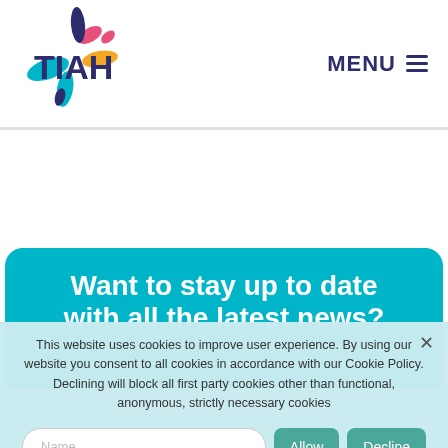[Figure (logo): TIAH logo with colorful petal shapes and bold TIAH text in dark navy]
MENU ≡
Want to stay up to date with all the latest news?
Sign up to our monthly newsletter to get all the updates, news and events that matter to you.
This website uses cookies to improve user experience. By using our website you consent to all cookies in accordance with our Cookie Policy. Declining will block all first party cookies other than functional, anonymous, strictly necessary cookies